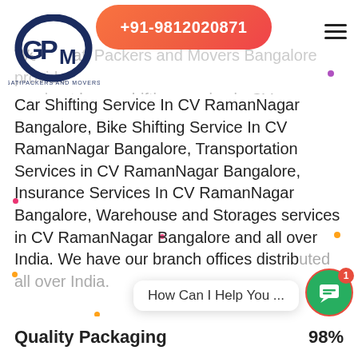[Figure (logo): GPM Gati Packers and Movers logo — circular monogram with letters G, P, M in dark navy blue, with company name below]
+91-9812020871
We at Gati Packers and Movers Bangalore provide you best home shifting service in CV RamanNagar Bangalore, office shifting services in CV RamanNagar Bangalore, Car Shifting Service In CV RamanNagar Bangalore, Bike Shifting Service In CV RamanNagar Bangalore, Transportation Services in CV RamanNagar Bangalore, Insurance Services In CV RamanNagar Bangalore, Warehouse and Storages services in CV RamanNagar Bangalore and all over India. We have our branch offices distributed all over India.
How Can I Help You ...
Quality Packaging
98%